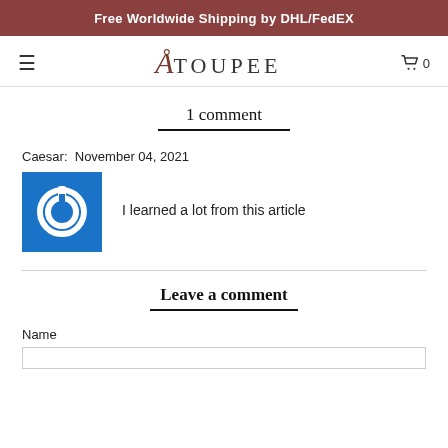Free Worldwide Shipping by DHL/FedEX
[Figure (logo): AToupee logo with decorative italic A and TOUPEE text, cart icon and hamburger menu]
1 comment
Caesar: November 04, 2021
[Figure (illustration): Blue square avatar with white power button icon]
I learned a lot from this article
Leave a comment
Name